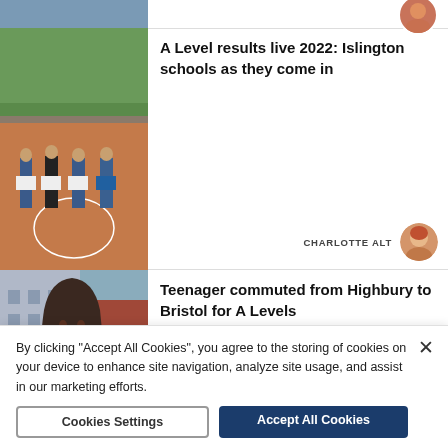[Figure (photo): Partial top article card with thumbnail image of an outdoor scene, partially visible]
[Figure (photo): Article card thumbnail showing four students standing on a basketball court holding papers, outdoors]
A Level results live 2022: Islington schools as they come in
CHARLOTTE ALT
[Figure (photo): Author avatar for Charlotte Alt - woman with red/auburn hair]
[Figure (photo): Article card thumbnail showing a teenage girl with long dark hair, smiling, wearing a blue striped top, outdoors in an urban setting]
Teenager commuted from Highbury to Bristol for A Levels
EMMA BARTHOLOMEW
[Figure (photo): Author avatar for Emma Bartholomew - woman with dark hair]
By clicking "Accept All Cookies", you agree to the storing of cookies on your device to enhance site navigation, analyze site usage, and assist in our marketing efforts.
Cookies Settings
Accept All Cookies